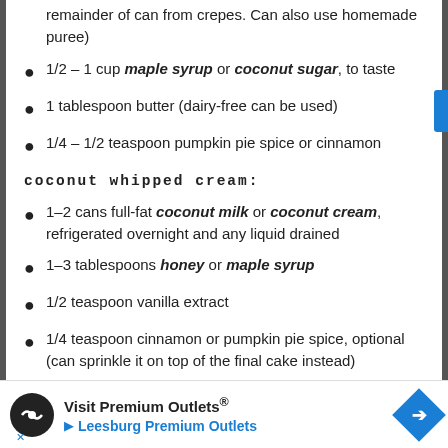remainder of can from crepes. Can also use homemade puree)
1/2 – 1 cup maple syrup or coconut sugar, to taste
1 tablespoon butter (dairy-free can be used)
1/4 – 1/2 teaspoon pumpkin pie spice or cinnamon
coconut whipped cream:
1–2 cans full-fat coconut milk or coconut cream, refrigerated overnight and any liquid drained
1–3 tablespoons honey or maple syrup
1/2 teaspoon vanilla extract
1/4 teaspoon cinnamon or pumpkin pie spice, optional (can sprinkle it on top of the final cake instead)
maple glazed pecans:
1/2 cup pecans (whole or chopped)
[Figure (other): Advertisement banner for Visit Premium Outlets / Leesburg Premium Outlets]